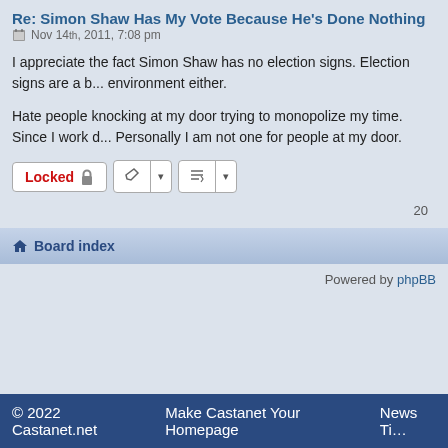Re: Simon Shaw Has My Vote Because He's Done Nothing
Nov 14th, 2011, 7:08 pm
I appreciate the fact Simon Shaw has no election signs. Election signs are a b... environment either.
Hate people knocking at my door trying to monopolize my time. Since I work ... Personally I am not one for people at my door.
20
Board index
Powered by phpBB
© 2022 Castanet.net    Make Castanet Your Homepage    News Ti...